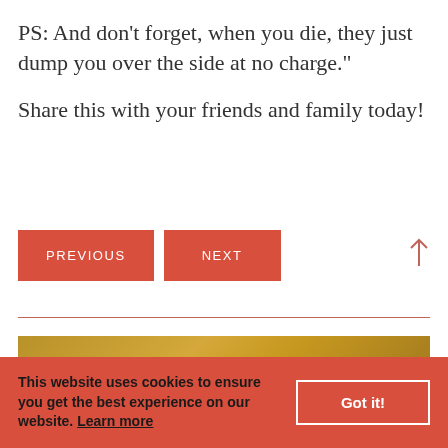PS: And don’t forget, when you die, they just dump you over the side at no charge.”
Share this with your friends and family today!
PREVIOUS  NEXT  ↑
[Figure (other): Gold/tan colored banner image strip]
This website uses cookies to ensure you get the best experience on our website. Learn more  Got it!